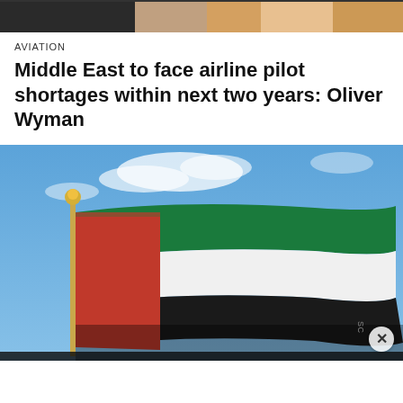[Figure (photo): Cropped top image strip showing people or scene, partially visible at very top of page]
AVIATION
Middle East to face airline pilot shortages within next two years: Oliver Wyman
[Figure (photo): UAE flag waving against a blue sky with clouds, mounted on a gold-tipped flagpole. The flag shows the UAE colors: red vertical stripe on left, and horizontal stripes of green, white, and black.]